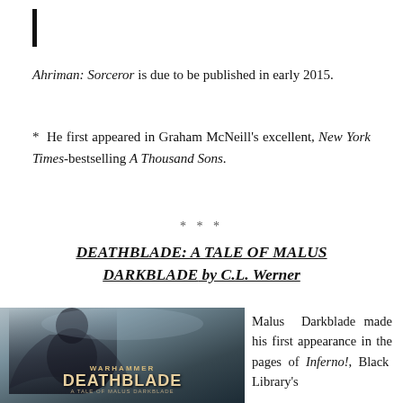Ahriman: Sorceror is due to be published in early 2015.
* He first appeared in Graham McNeill's excellent, New York Times-bestselling A Thousand Sons.
***
DEATHBLADE: A TALE OF MALUS DARKBLADE by C.L. Werner
[Figure (illustration): Book cover art for Warhammer Deathblade: A Tale of Malus Darkblade. Dark fantasy illustration showing an armored warrior figure with the title text overlaid.]
Malus Darkblade made his first appearance in the pages of Inferno!, Black Library's